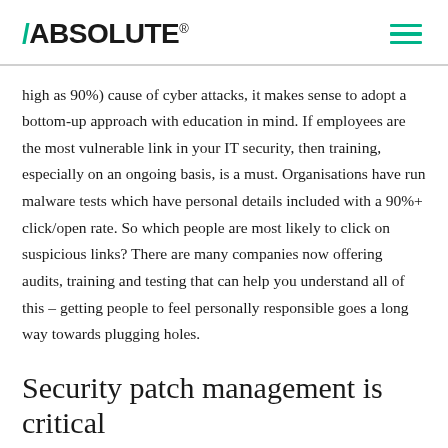/ABSOLUTE®
high as 90%) cause of cyber attacks, it makes sense to adopt a bottom-up approach with education in mind. If employees are the most vulnerable link in your IT security, then training, especially on an ongoing basis, is a must. Organisations have run malware tests which have personal details included with a 90%+ click/open rate. So which people are most likely to click on suspicious links? There are many companies now offering audits, training and testing that can help you understand all of this – getting people to feel personally responsible goes a long way towards plugging holes.
Security patch management is critical